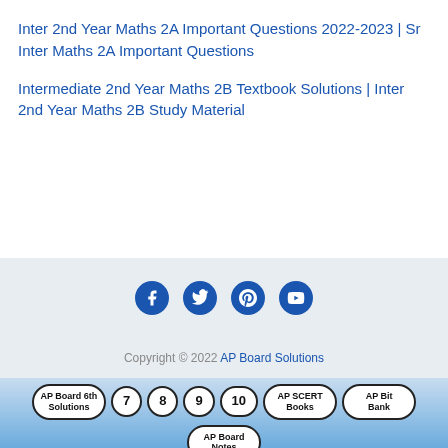Inter 2nd Year Maths 2A Important Questions 2022-2023 | Sr Inter Maths 2A Important Questions
Intermediate 2nd Year Maths 2B Textbook Solutions | Inter 2nd Year Maths 2B Study Material
[Figure (infographic): Social media icons: Facebook, Twitter, Pinterest, YouTube in blue circles]
Copyright © 2022 AP Board Solutions
AP Board 6th Solutions | 7 | 8 | 9 | 10 | AP SCERT Books | AP Bit Bank | AP Board Notes